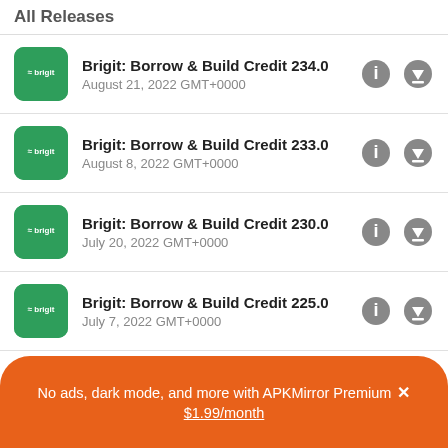All Releases
Brigit: Borrow & Build Credit 234.0 — August 21, 2022 GMT+0000
Brigit: Borrow & Build Credit 233.0 — August 8, 2022 GMT+0000
Brigit: Borrow & Build Credit 230.0 — July 20, 2022 GMT+0000
Brigit: Borrow & Build Credit 225.0 — July 7, 2022 GMT+0000
Brigit: Borrow & Build Credit 223.0 — July 1, 2022 GMT+0000
No ads, dark mode, and more with APKMirror Premium × $1.99/month